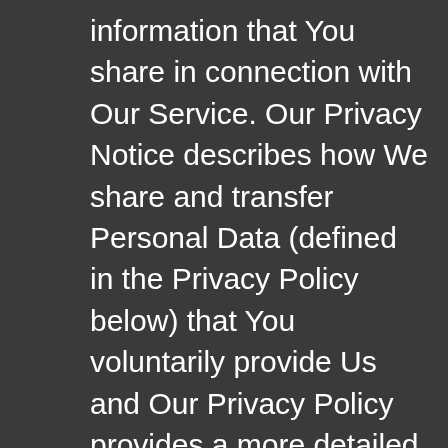information that You share in connection with Our Service. Our Privacy Notice describes how We share and transfer Personal Data (defined in the Privacy Policy below) that You voluntarily provide Us and Our Privacy Policy provides a more detailed description of how We collect, process and manage Your Personal Data and informs You of Your rights with respect the privacy practices associated with the, use, and disclosure of Personal Data through the Site and Service. WWW.CRYPTOFXOPTIONS24.COM may provide additional notices